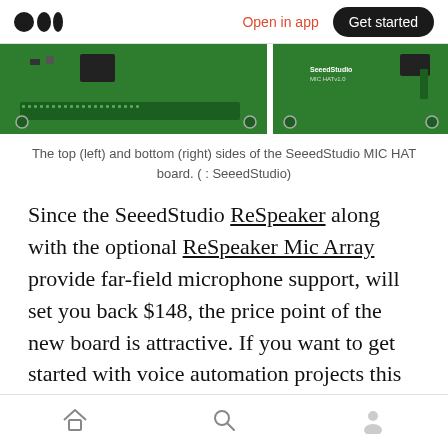Open in app | Get started
[Figure (photo): Top (left) and bottom (right) sides of the SeeedStudio MIC HAT circuit board, showing green PCBs with electronic components.]
The top (left) and bottom (right) sides of the SeeedStudio MIC HAT board. ( : SeeedStudio)
Since the SeeedStudio ReSpeaker along with the optional ReSpeaker Mic Array provide far-field microphone support, will set you back $148, the price point of the new board is attractive. If you want to get started with voice automation projects this new board looks like an amazing place to begin.
Navigation bar with home, search, and profile icons